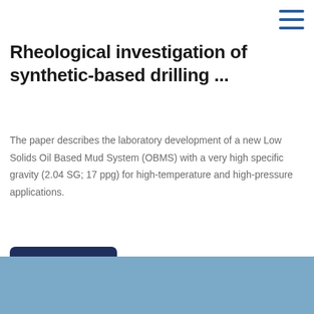[Figure (other): Hamburger menu icon — three horizontal blue lines in top-right corner]
Rheological investigation of synthetic-based drilling ...
The paper describes the laboratory development of a new Low Solids Oil Based Mud System (OBMS) with a very high specific gravity (2.04 SG; 17 ppg) for high-temperature and high-pressure applications.
[Figure (other): Dark navy blue rounded button labeled 'Get Price']
[Figure (other): Light blue banner/image strip at the bottom of the page]